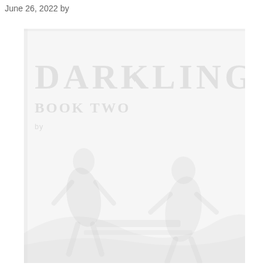June 26, 2022 by
[Figure (illustration): A faint, nearly white book cover image featuring large bold text reading 'DARKLING' at the top with subtitle text below, followed by decorative figure imagery. The cover appears washed out or overexposed, showing only faint gray tones against a white/light gray background.]